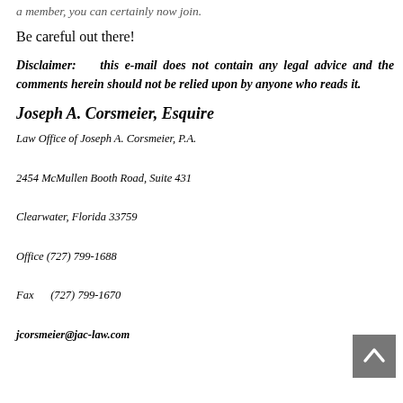a member, you can certainly now join.
Be careful out there!
Disclaimer:   this e-mail does not contain any legal advice and the comments herein should not be relied upon by anyone who reads it.
Joseph A. Corsmeier, Esquire
Law Office of Joseph A. Corsmeier, P.A.
2454 McMullen Booth Road, Suite 431
Clearwater, Florida 33759
Office (727) 799-1688
Fax      (727) 799-1670
jcorsmeier@jac-law.com